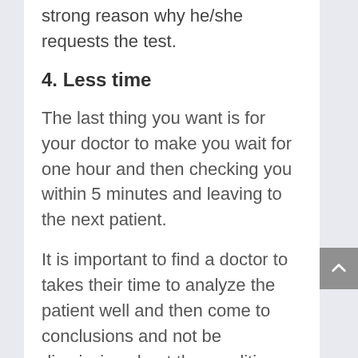strong reason why he/she requests the test.
4. Less time
The last thing you want is for your doctor to make you wait for one hour and then checking you within 5 minutes and leaving to the next patient.
It is important to find a doctor to takes their time to analyze the patient well and then come to conclusions and not be dismissive about the condition then the